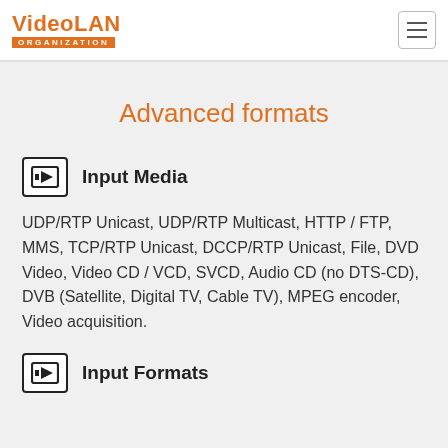VideoLAN ORGANIZATION
Advanced formats
Input Media
UDP/RTP Unicast, UDP/RTP Multicast, HTTP / FTP, MMS, TCP/RTP Unicast, DCCP/RTP Unicast, File, DVD Video, Video CD / VCD, SVCD, Audio CD (no DTS-CD), DVB (Satellite, Digital TV, Cable TV), MPEG encoder, Video acquisition.
Input Formats